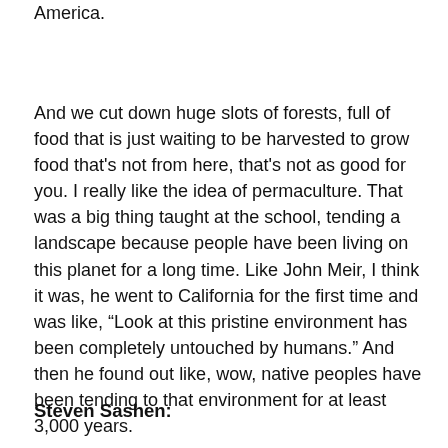America.
And we cut down huge slots of forests, full of food that is just waiting to be harvested to grow food that's not from here, that's not as good for you. I really like the idea of permaculture. That was a big thing taught at the school, tending a landscape because people have been living on this planet for a long time. Like John Meir, I think it was, he went to California for the first time and was like, “Look at this pristine environment has been completely untouched by humans.” And then he found out like, wow, native peoples have been tending to that environment for at least 3,000 years.
Steven Sashen: